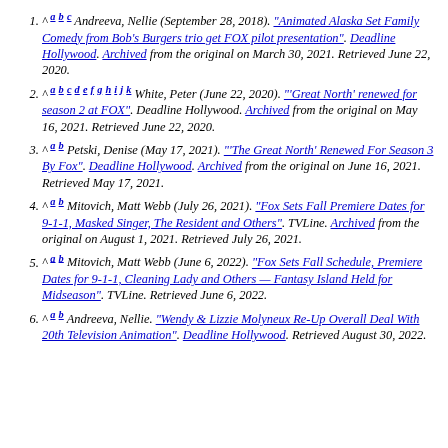^ a b c Andreeva, Nellie (September 28, 2018). "Animated Alaska Set Family Comedy from Bob's Burgers trio get FOX pilot presentation". Deadline Hollywood. Archived from the original on March 30, 2021. Retrieved June 22, 2020.
^ a b c d e f g h i j k White, Peter (June 22, 2020). "'Great North' renewed for season 2 at FOX". Deadline Hollywood. Archived from the original on May 16, 2021. Retrieved June 22, 2020.
^ a b Petski, Denise (May 17, 2021). "'The Great North' Renewed For Season 3 By Fox". Deadline Hollywood. Archived from the original on June 16, 2021. Retrieved May 17, 2021.
^ a b Mitovich, Matt Webb (July 26, 2021). "Fox Sets Fall Premiere Dates for 9-1-1, Masked Singer, The Resident and Others". TVLine. Archived from the original on August 1, 2021. Retrieved July 26, 2021.
^ a b Mitovich, Matt Webb (June 6, 2022). "Fox Sets Fall Schedule, Premiere Dates for 9-1-1, Cleaning Lady and Others — Fantasy Island Held for Midseason". TVLine. Retrieved June 6, 2022.
^ a b Andreeva, Nellie. "Wendy & Lizzie Molyneux Re-Up Overall Deal With 20th Television Animation". Deadline Hollywood. Retrieved August 30, 2022.